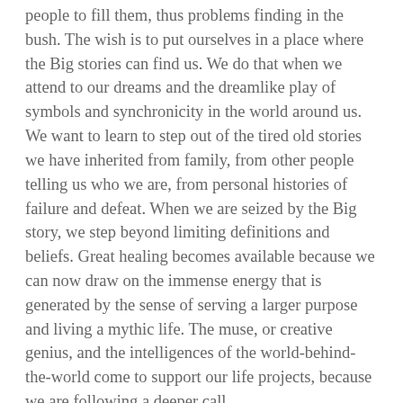people to fill them, thus problems finding in the bush. The wish is to put ourselves in a place where the Big stories can find us. We do that when we attend to our dreams and the dreamlike play of symbols and synchronicity in the world around us. We want to learn to step out of the tired old stories we have inherited from family, from other people telling us who we are, from personal histories of failure and defeat. When we are seized by the Big story, we step beyond limiting definitions and beliefs. Great healing becomes available because we can now draw on the immense energy that is generated by the sense of serving a larger purpose and living a mythic life. The muse, or creative genius, and the intelligences of the world-behind-the-world come to support our life projects, because we are following a deeper call.
Your world is as rich or poor, as alluring or dull, as you can imagine. Listen to your dreams, let your inner child out to play, put yourself in a place where you bigger story can grab you. When you move in the energy field of ta big dream of life, the world responds to you, because you are magnetic. You generate events